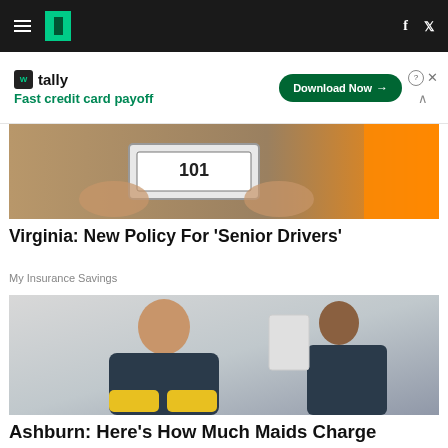HuffPost navigation with hamburger menu, logo, Facebook and Twitter icons
[Figure (infographic): Tally advertisement banner: Fast credit card payoff, Download Now button]
[Figure (photo): Hands holding a vehicle license plate near an orange truck]
Virginia: New Policy For 'Senior Drivers'
My Insurance Savings
[Figure (photo): Smiling woman in dark scrubs with yellow gloves crossed over her arms, another person in background]
Ashburn: Here's How Much Maids Charge